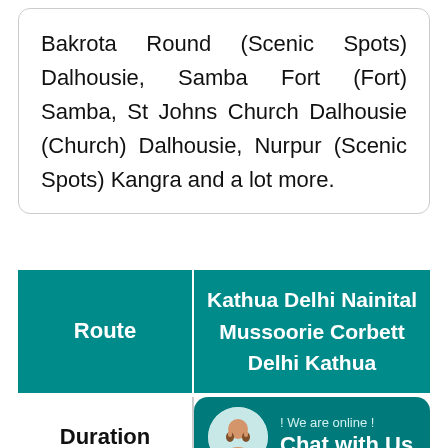Bakrota Round (Scenic Spots) Dalhousie, Samba Fort (Fort) Samba, St Johns Church Dalhousie (Church) Dalhousie, Nurpur (Scenic Spots) Kangra and a lot more.
| Route |  |
| --- | --- |
| Route | Kathua Delhi Nainital Mussoorie Corbett Delhi Kathua |
| Duration |  |
| Transportation |  |